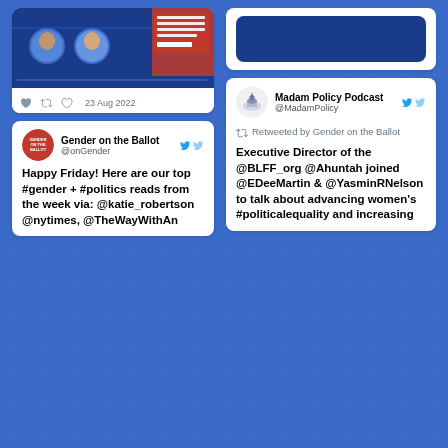[Figure (screenshot): Tweet card from an event promotion, partially visible at top-left with a blue background and tweet image showing women speakers. Date shown: 23 Aug 2022 with tweet action icons.]
[Figure (screenshot): Tweet card from @MadamPolicy (Madam Policy Podcast) with a retweet notice 'Retweeted by Gender on the Ballot'. Tweet text: Executive Director of the @BLFF_org @Ahuntah joined @EDeeMartin & @YasminRNelson to talk about advancing women's #politicalequality and increasing]
[Figure (screenshot): Tweet card from @onGender (Gender on the Ballot). Tweet text: Happy Friday! Here are our top #gender + #politics reads from the week via: @katie_robertson @nytimes, @TheWayWithAn]